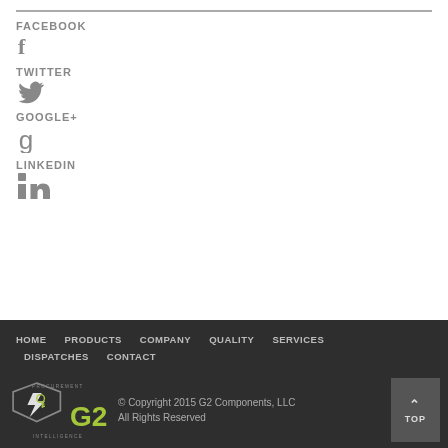FACEBOOK
[Figure (illustration): Facebook 'f' icon in grey]
TWITTER
[Figure (illustration): Twitter bird icon in grey]
GOOGLE+
[Figure (illustration): Google+ 'g' icon in grey]
LINKEDIN
[Figure (illustration): LinkedIn 'in' icon in grey]
HOME  PRODUCTS  COMPANY  QUALITY  SERVICES  DISPATCHES  CONTACT  © Copyright 2015 G2 Components, LLC  All Rights Reserved  TOP